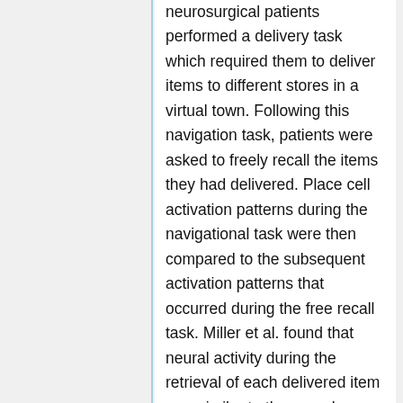neurosurgical patients performed a delivery task which required them to deliver items to different stores in a virtual town. Following this navigation task, patients were asked to freely recall the items they had delivered. Place cell activation patterns during the navigational task were then compared to the subsequent activation patterns that occurred during the free recall task. Miller et al. found that neural activity during the retrieval of each delivered item was similar to the neural activity associated with the location where that item was encoded. These findings demonstrate context-specific reinstatement of place-responsive cell activity at the time of recall, supporting theories that implicate contextual reinstatement as the basis for memory retrieval.